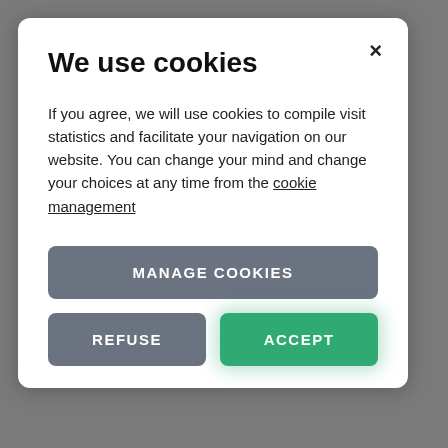We use cookies
If you agree, we will use cookies to compile visit statistics and facilitate your navigation on our website. You can change your mind and change your choices at any time from the cookie management
MANAGE COOKIES
REFUSE
ACCEPT